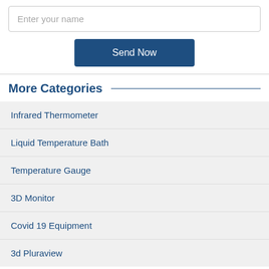Enter your name
Send Now
More Categories
Infrared Thermometer
Liquid Temperature Bath
Temperature Gauge
3D Monitor
Covid 19 Equipment
3d Pluraview